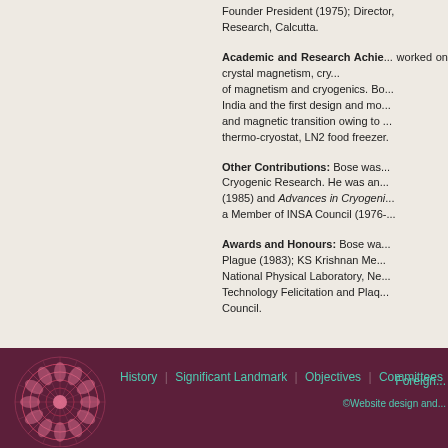Founder President (1975); Director, Research, Calcutta.
Academic and Research Achievements: worked on crystal magnetism, cryogenics, of magnetism and cryogenics. Bose in India and the first design and modification and magnetic transition owing to thermo-cryostat, LN2 food freezer.
Other Contributions: Bose was Cryogenic Research. He was an (1985) and Advances in Cryogenics a Member of INSA Council (1976-
Awards and Honours: Bose was Plague (1983); KS Krishnan Memorial National Physical Laboratory, New Technology Felicitation and Plaque Council.
History | Significant Landmark | Objectives | Committees | Foreign ©Website design and